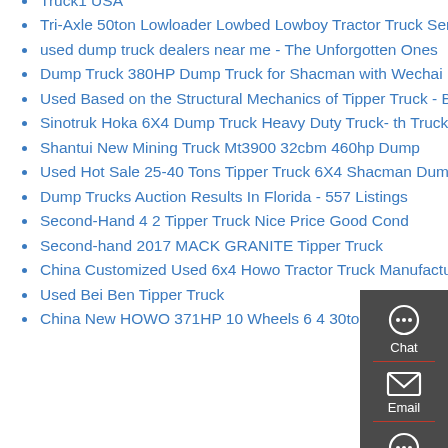Truck1 USA
Tri-Axle 50ton Lowloader Lowbed Lowboy Tractor Truck Semi Trailer
used dump truck dealers near me - The Unforgotten Ones
Dump Truck 380HP Dump Truck for Shacman with Wechai
Used Based on the Structural Mechanics of Tipper Truck - Bentham Open
Sinotruk Hoka 6X4 Dump Truck Heavy Duty Truck - the Truck Supplier
Shantui New Mining Truck Mt3900 32cbm 460hp Dump
Used Hot Sale 25-40 Tons Tipper Truck 6X4 Shacman Dump Truck
Dump Trucks Auction Results In Florida - 557 Listings
Second-Hand 4 2 Tipper Truck Nice Price Good Cond
Second-hand 2017 MACK GRANITE Tipper Truck
China Customized Used 6x4 Howo Tractor Truck Manufacturers
Used Bei Ben Tipper Truck
China New HOWO 371HP 10 Wheels 6 4 30ton Heavy Tipper Truck
[Figure (infographic): Floating sidebar with Chat, Email, Contact, and Top (back to top) buttons on dark gray background]